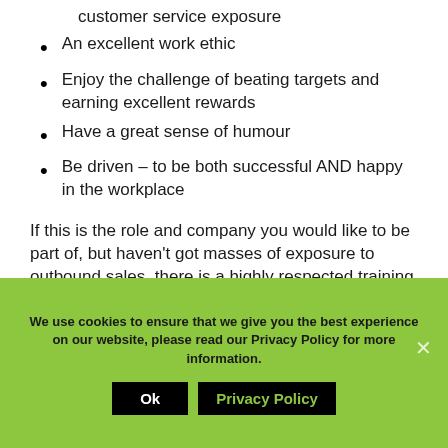customer service exposure
An excellent work ethic
Enjoy the challenge of beating targets and earning excellent rewards
Have a great sense of humour
Be driven – to be both successful AND happy in the workplace
If this is the role and company you would like to be part of, but haven't got masses of exposure to outbound sales, there is a highly respected training program available to
We use cookies to ensure that we give you the best experience on our website, please read our Privacy Policy for more information.